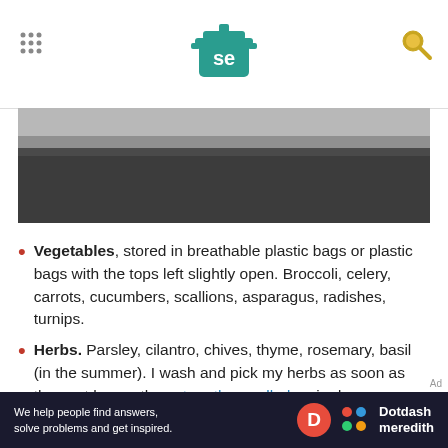Serious Eats
[Figure (photo): Partially visible food/kitchen image with dark lower section, appearing to be a cropped header image]
Vegetables, stored in breathable plastic bags or plastic bags with the tops left slightly open. Broccoli, celery, carrots, cucumbers, scallions, asparagus, radishes, turnips.
Herbs. Parsley, cilantro, chives, thyme, rosemary, basil (in the summer). I wash and pick my herbs as soon as they get home, then store them rolled up in damp paper towels in plastic zipper-lock
[Figure (logo): Dotdash Meredith advertisement banner: 'We help people find answers, solve problems and get inspired.']